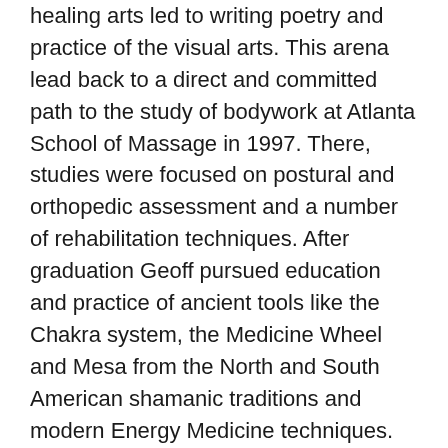healing arts led to writing poetry and practice of the visual arts. This arena lead back to a direct and committed path to the study of bodywork at Atlanta School of Massage in 1997. There, studies were focused on postural and orthopedic assessment and a number of rehabilitation techniques. After graduation Geoff pursued education and practice of ancient tools like the Chakra system, the Medicine Wheel and Mesa from the North and South American shamanic traditions and modern Energy Medicine techniques.
After several years of travel throughout the U.S. and Thailand Geoff returned to teach again at ASM. The students and classroom became a canvas for his 10 year practice and refinement in the art and science of communication with individuals and groups. “I look to this ancient student-and-teacher relationship as my deepest and richest guide and mentor.” says Geoff. In return Geoff offered unlimited compassion, empowerment and encouragement to his students.